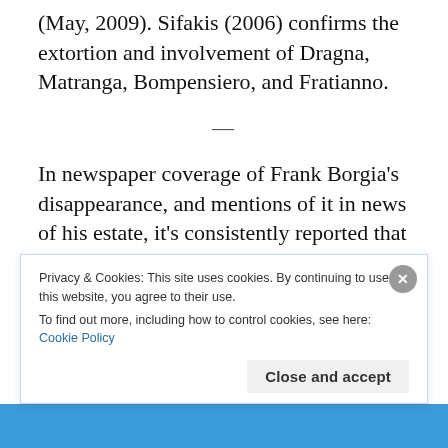(May, 2009). Sifakis (2006) confirms the extortion and involvement of Dragna, Matranga, Bompensiero, and Fratianno.
—
In newspaper coverage of Frank Borgia's disappearance, and mentions of it in news of his estate, it's consistently reported that Frank Borgia
Privacy & Cookies: This site uses cookies. By continuing to use this website, you agree to their use. To find out more, including how to control cookies, see here: Cookie Policy
Close and accept